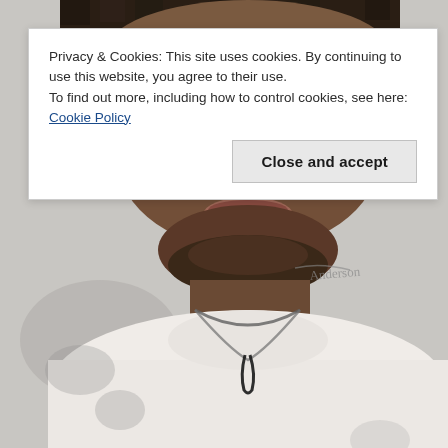[Figure (photo): Portrait photo of a young Black man with dreadlocks, wearing a white long-sleeve shirt and a chain necklace with a dark pendant. The photo is cropped from forehead to chest. There is a photographer's watermark/signature in the upper right area of the photo reading 'Anderson' or similar. Background is light grey/blurred.]
Privacy & Cookies: This site uses cookies. By continuing to use this website, you agree to their use.
To find out more, including how to control cookies, see here: Cookie Policy